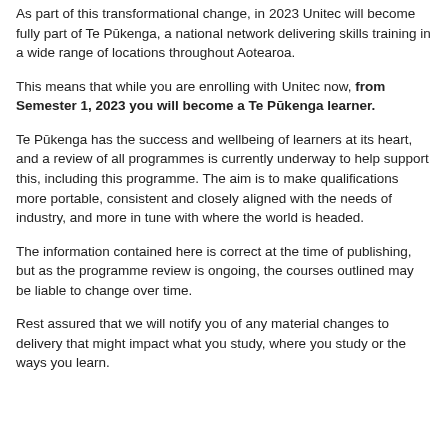As part of this transformational change, in 2023 Unitec will become fully part of Te Pūkenga, a national network delivering skills training in a wide range of locations throughout Aotearoa.
This means that while you are enrolling with Unitec now, from Semester 1, 2023 you will become a Te Pūkenga learner.
Te Pūkenga has the success and wellbeing of learners at its heart, and a review of all programmes is currently underway to help support this, including this programme. The aim is to make qualifications more portable, consistent and closely aligned with the needs of industry, and more in tune with where the world is headed.
The information contained here is correct at the time of publishing, but as the programme review is ongoing, the courses outlined may be liable to change over time.
Rest assured that we will notify you of any material changes to delivery that might impact what you study, where you study or the ways you learn.